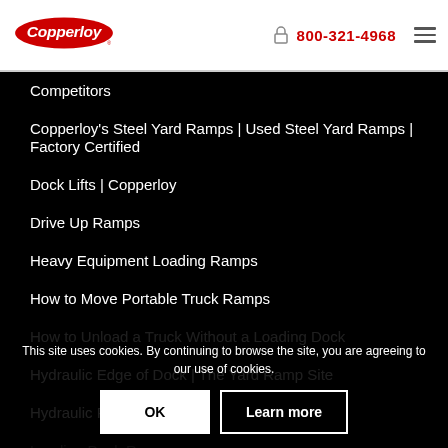[Figure (logo): Copperloy logo – red oval with white italic text]
800-321-4968
Competitors
Copperloy's Steel Yard Ramps | Used Steel Yard Ramps | Factory Certified
Dock Lifts | Copperloy
Drive Up Ramps
Heavy Equipment Loading Ramps
How to Move Portable Truck Ramps
How to Unload a Truck Without a Loading Dock
Hydraulic Edge of Dock | The Yard Ramp Site
Hydraulic Ramp
Loading Dock Ramp
Loading Dock Ramp
Metal Truck Ramps
Mobile Loading
Mobile Loading Docks
This site uses cookies. By continuing to browse the site, you are agreeing to our use of cookies.